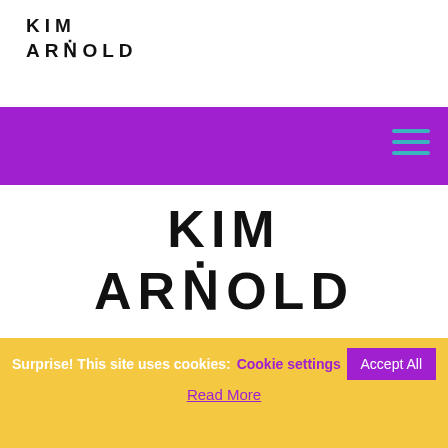KIM
ARNOLD
[Figure (other): Purple navigation bar with teal hamburger menu icon (three horizontal lines) on the right]
KIM
ARNOLD
FOLLOW ON SOCIAL
[Figure (other): Social media icons: Twitter, Facebook, LinkedIn, Instagram]
[Figure (other): Gray back-to-top button with upward chevron arrow]
Surprise! This site uses cookies:   Cookie settings   Accept All
Read More